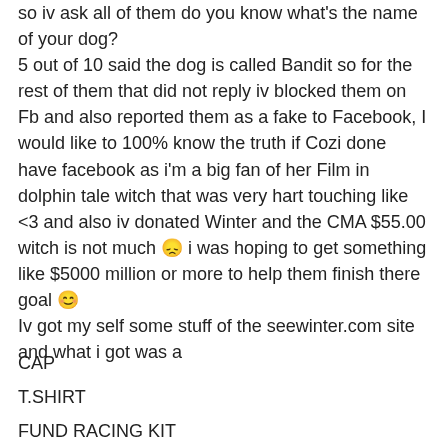so iv ask all of them do you know what's the name of your dog? 5 out of 10 said the dog is called Bandit so for the rest of them that did not reply iv blocked them on Fb and also reported them as a fake to Facebook, I would like to 100% know the truth if Cozi done have facebook as i'm a big fan of her Film in dolphin tale witch that was very hart touching like <3 and also iv donated Winter and the CMA $55.00 witch is not much 😞 i was hoping to get something like $5000 million or more to help them finish there goal 😊 Iv got my self some stuff of the seewinter.com site and what i got was a
CAP
T.SHIRT
FUND RACING KIT